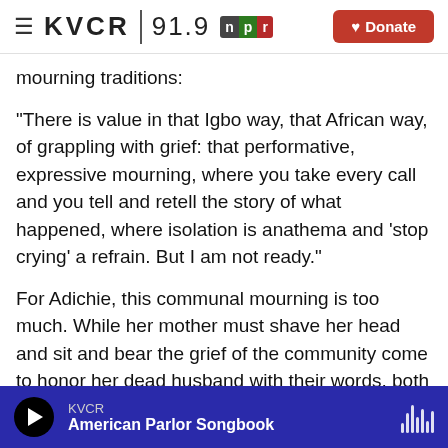KVCR 91.9 | NPR | Donate
mourning traditions:
"There is value in that Igbo way, that African way, of grappling with grief: that performative, expressive mourning, where you take every call and you tell and retell the story of what happened, where isolation is anathema and 'stop crying' a refrain. But I am not ready."
For Adichie, this communal mourning is too much. While her mother must shave her head and sit and bear the grief of the community come to honor her dead husband with their words, both spoken and
KVCR | American Parlor Songbook